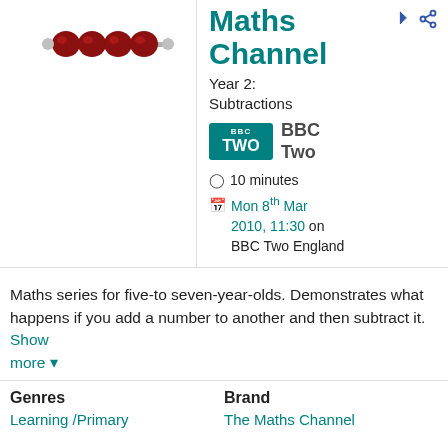[Figure (photo): Abacus with red beads on a metal rod, partial view at top of page]
Maths Channel
Year 2: Subtractions
BBC Two
10 minutes
Mon 8th Mar 2010, 11:30 on BBC Two England
Maths series for five-to seven-year-olds. Demonstrates what happens if you add a number to another and then subtract it. Show more ▾
Genres
Learning / Primary
Brand
The Maths Channel